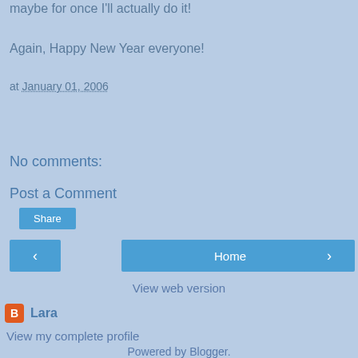maybe for once I'll actually do it!
Again, Happy New Year everyone!
at January 01, 2006
Share
No comments:
Post a Comment
< Home >
View web version
Lara
View my complete profile
Powered by Blogger.